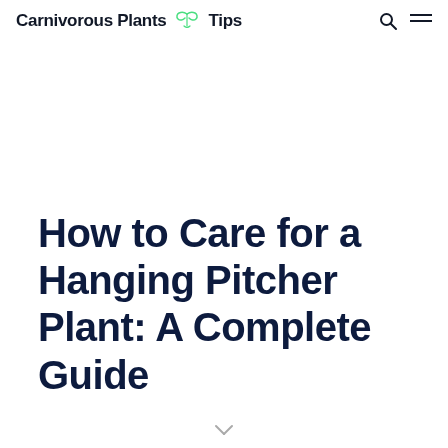Carnivorous Plants Tips
How to Care for a Hanging Pitcher Plant: A Complete Guide